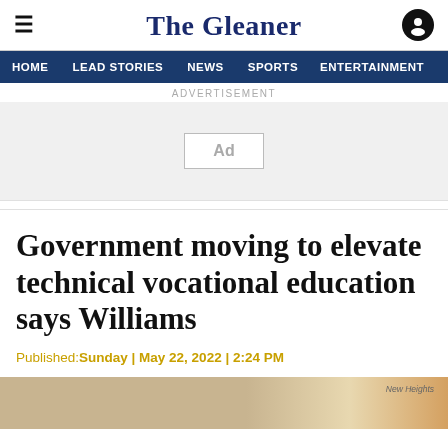The Gleaner
HOME  LEAD STORIES  NEWS  SPORTS  ENTERTAINMENT
ADVERTISEMENT
[Figure (other): Advertisement placeholder box labeled Ad]
Government moving to elevate technical vocational education says Williams
Published:Sunday | May 22, 2022 | 2:24 PM
[Figure (photo): Partial photo at bottom of page, appears to show people or objects, partially cropped]